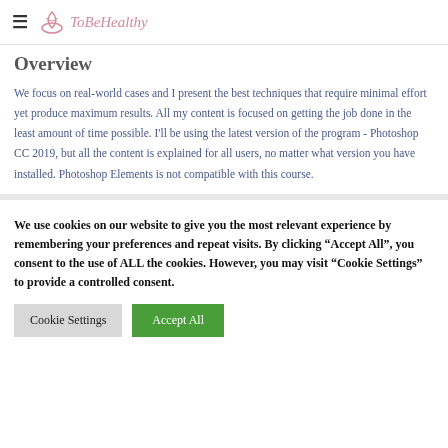ToBeHealthy
Overview
We focus on real-world cases and I present the best techniques that require minimal effort yet produce maximum results. All my content is focused on getting the job done in the least amount of time possible. I'll be using the latest version of the program - Photoshop CC 2019, but all the content is explained for all users, no matter what version you have installed. Photoshop Elements is not compatible with this course.
We use cookies on our website to give you the most relevant experience by remembering your preferences and repeat visits. By clicking “Accept All”, you consent to the use of ALL the cookies. However, you may visit “Cookie Settings” to provide a controlled consent.
Cookie Settings   Accept All